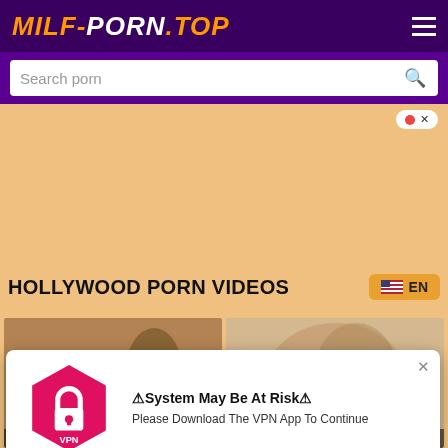MILF-PORN.TOP
Search porn
HOLLYWOOD PORN VIDEOS
EN
[Figure (photo): Two video thumbnails side by side showing adult content]
American whorehouse
⚠System May Be At Risk⚠
Please Download The VPN App To Continue